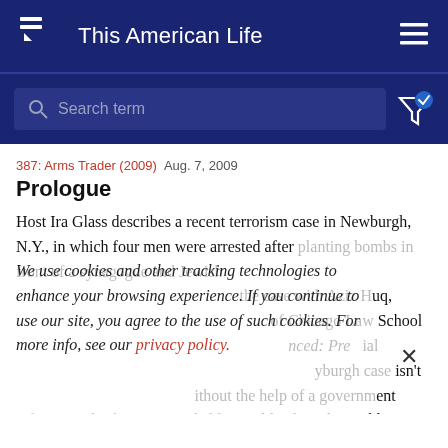This American Life
Search term
387: Arms Trader (2009)  Aug. 7, 2009
Prologue
Host Ira Glass describes a recent terrorism case in Newburgh, N.Y., in which four men were arrested after planting bombs in front of a synagogue and Jewish community center. He discusses the case with Aziz Huq, professor of law at the University of Chicago Law School (his specialty: Preve​ntial detention). He argues the Newburgh case isn't unique—without the help of a government informant, the four men probably wouldn't have been able to do anything.
We use cookies and other tracking technologies to enhance your browsing experience. If you continue to use our site, you agree to the use of such cookies. For more info, see our privacy policy.